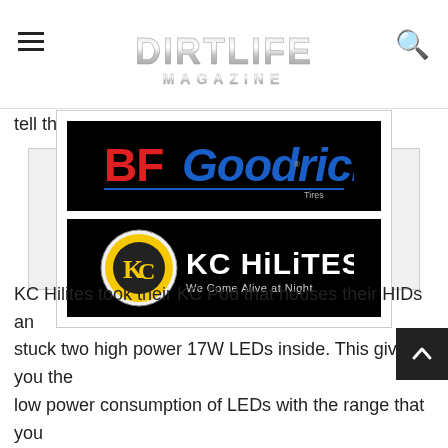DIRTLIFE MAGAZINE
tell them you saw their logos on FullDroopTV
[Figure (logo): BFGoodrich Tires logo on black background]
[Figure (logo): KC HiLiTES logo with tagline 'We Come Alive at Night' on black background]
KC Hilites took their KC Pod that houses their HIDs and stuck two high power 17W LEDs inside. This gives you the low power consumption of LEDs with the range that you